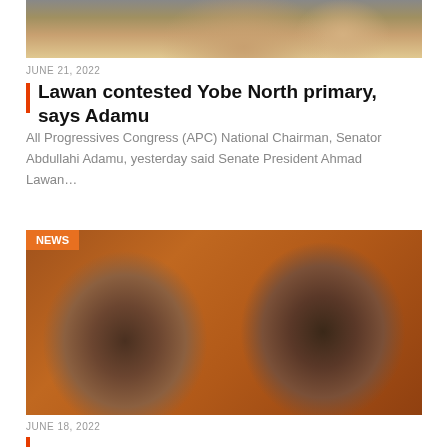[Figure (photo): Top portion of a photo showing a man in white shirt speaking at a podium, with red chairs visible in the background]
JUNE 21, 2022
Lawan contested Yobe North primary, says Adamu
All Progressives Congress (APC) National Chairman, Senator Abdullahi Adamu, yesterday said Senate President Ahmad Lawan…
[Figure (photo): Side-by-side photo of two Nigerian men wearing traditional caps (fula hats) against a brown background. Left man is heavier-set with glasses, right man is smiling.]
JUNE 18, 2022